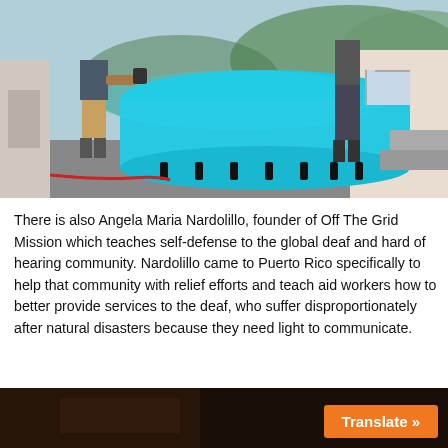[Figure (photo): Two people working on a large cylindrical blue water tank outside a building, with one person using a power tool on the tank. Green hills visible in background.]
There is also Angela Maria Nardolillo, founder of Off The Grid Mission which teaches self-defense to the global deaf and hard of hearing community. Nardolillo came to Puerto Rico specifically to help that community with relief efforts and teach aid workers how to better provide services to the deaf, who suffer disproportionately after natural disasters because they need light to communicate.
[Figure (photo): Dark interior photo, partially visible at bottom of page with an orange Translate button overlay.]